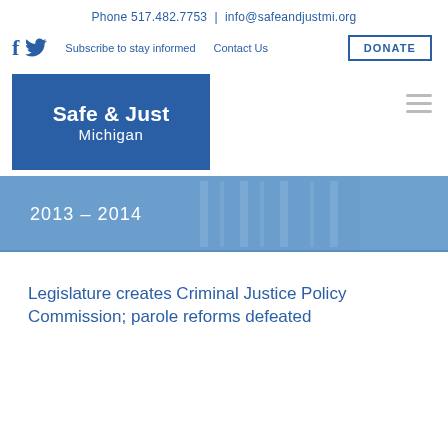Phone 517.482.7753  |  info@safeandjustmi.org
[Figure (logo): Safe & Just Michigan logo — blue rectangle with white bold text 'Safe & Just Michigan']
2013 – 2014
Legislature creates Criminal Justice Policy Commission; parole reforms defeated